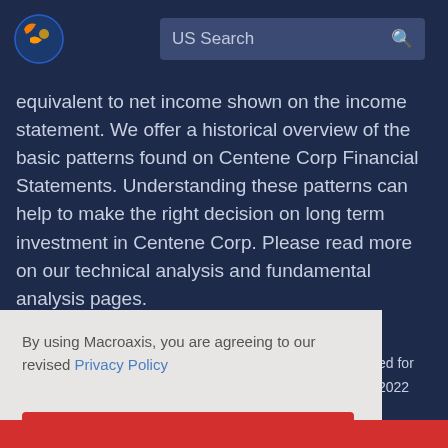[Figure (logo): Macroaxis globe logo — orange and blue circular icon]
US Search
equivalent to net income shown on the income statement. We offer a historical overview of the basic patterns found on Centene Corp Financial Statements. Understanding these patterns can help to make the right decision on long term investment in Centene Corp. Please read more on our technical analysis and fundamental analysis pages.
By using Macroaxis, you are agreeing to our revised Privacy Policy
OK
ed for 2022
4.2 B